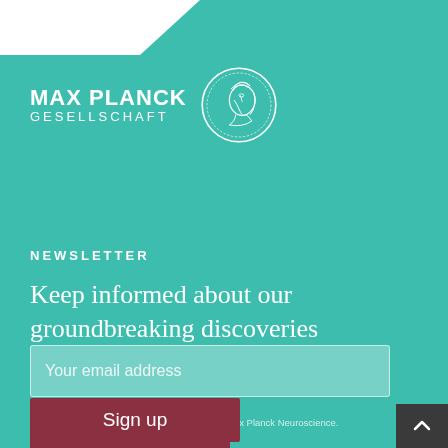[Figure (logo): Max Planck Gesellschaft logo with circular emblem featuring a classical bust and text MAX PLANCK GESELLSCHAFT]
NEWSLETTER
Keep informed about our groundbreaking discoveries
Your email address
Yes, I would like to receive emails from Max Planck Neuroscience.
Sign up